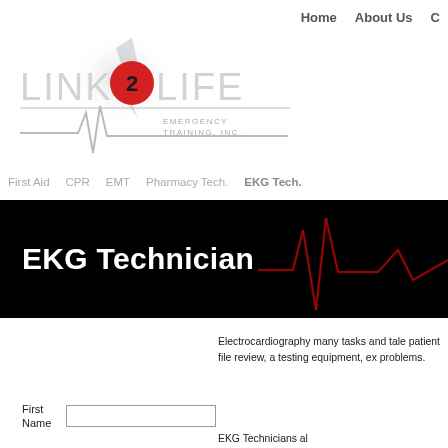Home    About Us    C
[Figure (logo): Link2Life Emergency Training Inc. logo with red circle containing number 2, EKG waveform, and stylized text]
First Aid    CPR    EMT    Pharmacy Tech.    EKG Tech.
EKG Technician
Electrocardiography many tasks and talent patient file review, a testing equipment, ex problems.
EKG Technicians al
First Name [input field]